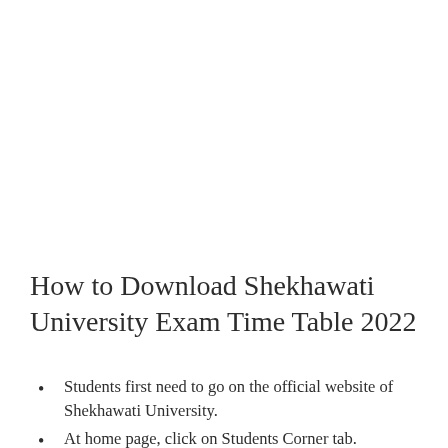How to Download Shekhawati University Exam Time Table 2022
Students first need to go on the official website of Shekhawati University.
At home page, click on Students Corner tab.